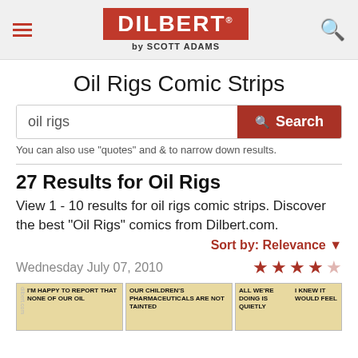DILBERT by SCOTT ADAMS
Oil Rigs Comic Strips
oil rigs [Search]
You can also use "quotes" and & to narrow down results.
27 Results for Oil Rigs
View 1 - 10 results for oil rigs comic strips. Discover the best "Oil Rigs" comics from Dilbert.com.
Sort by: Relevance
Wednesday July 07, 2010
[Figure (screenshot): Three Dilbert comic strip thumbnails partially visible at bottom of page, dated Wednesday July 07, 2010, with 4 out of 5 star rating. Left panel text: I'M HAPPY TO REPORT THAT NONE OF OUR OIL, middle panel: OUR CHILDREN'S PHARMACEUTICALS ARE NOT TAINTED, right panel: ALL WE'RE DOING IS QUIETLY / I KNEW IT WOULD FEEL]